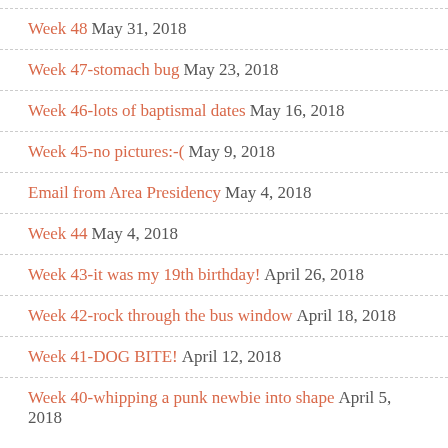Week 48 May 31, 2018
Week 47-stomach bug May 23, 2018
Week 46-lots of baptismal dates May 16, 2018
Week 45-no pictures:-( May 9, 2018
Email from Area Presidency May 4, 2018
Week 44 May 4, 2018
Week 43-it was my 19th birthday! April 26, 2018
Week 42-rock through the bus window April 18, 2018
Week 41-DOG BITE! April 12, 2018
Week 40-whipping a punk newbie into shape April 5, 2018